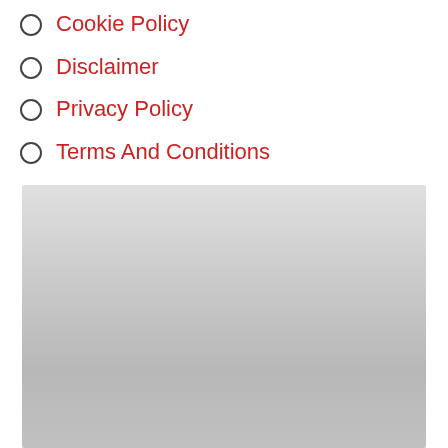Cookie Policy
Disclaimer
Privacy Policy
Terms And Conditions
[Figure (other): Gray gradient rectangle filling the lower portion of the page]